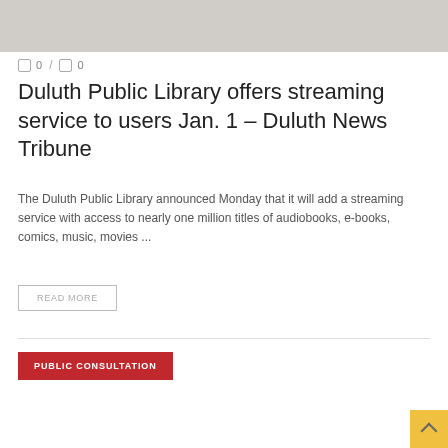[Figure (photo): Grayscale photo of books or library shelves, partially visible at top of page]
0 / 0
Duluth Public Library offers streaming service to users Jan. 1 – Duluth News Tribune
The Duluth Public Library announced Monday that it will add a streaming service with access to nearly one million titles of audiobooks, e-books, comics, music, movies ...
READ MORE
PUBLIC CONSULTATION